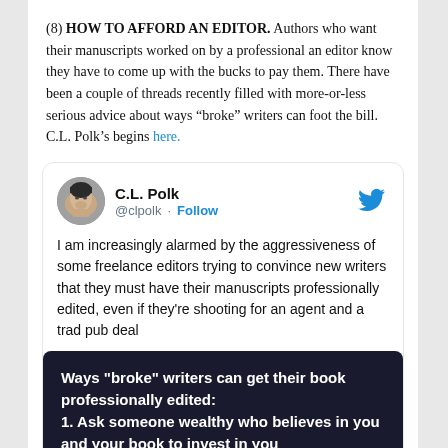(8) HOW TO AFFORD AN EDITOR. Authors who want their manuscripts worked on by a professional an editor know they have to come up with the bucks to pay them. There have been a couple of threads recently filled with more-or-less serious advice about ways “broke” writers can foot the bill. C.L. Polk’s begins here.
[Figure (screenshot): Embedded tweet from @clpolk (C.L. Polk) with Twitter bird icon, avatar photo, Follow button, tweet text about alarming aggressiveness of freelance editors, and a dark card image with text about ways broke writers can get their book professionally edited.]